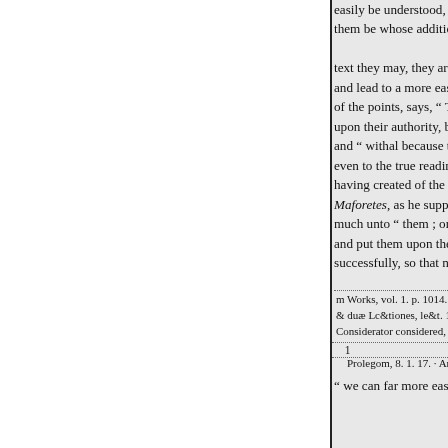easily be understood, and be them be whose additions to text they may, they are so fa and lead to a more easy read of the points, says, " The Ch upon their authority, but " b and " withal because they sa even to the true reading of i having created of the points Maforetes, as he supposed, much unto " them ; or rathe and put them upon the study successfully, so that now, by
m Works, vol. 1. p. 1014. * & duæ Lc&tiones, le&t. 12. Considerator considered, p. Prolegom, 8. 1. 17. · Arca
1
" we can far more easily, and